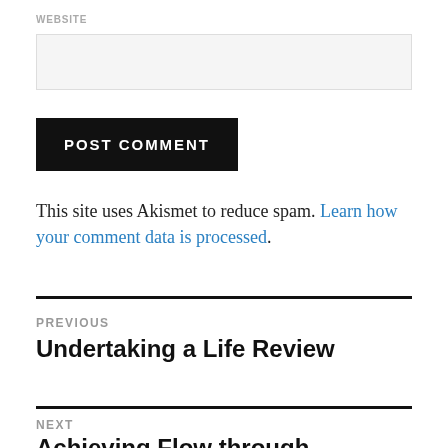WEBSITE
POST COMMENT
This site uses Akismet to reduce spam. Learn how your comment data is processed.
PREVIOUS
Undertaking a Life Review
NEXT
Achieving Flow through